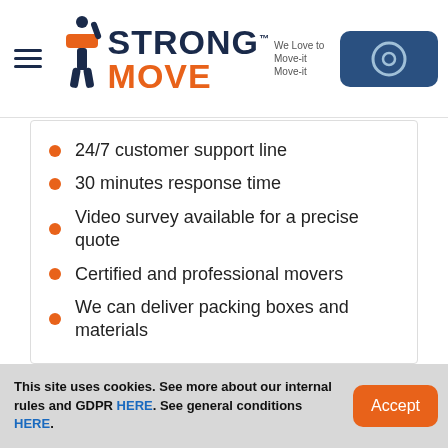[Figure (logo): Strong Move logo with person carrying box icon and tagline 'We Love to Move-it Move-it']
24/7 customer support line
30 minutes response time
Video survey available for a precise quote
Certified and professional movers
We can deliver packing boxes and materials
More about office removals
This site uses cookies. See more about our internal rules and GDPR HERE. See general conditions HERE.